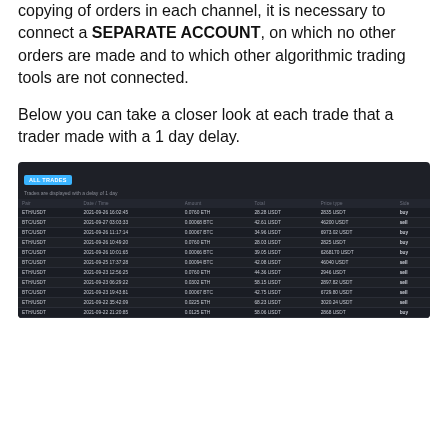copying of orders in each channel, it is necessary to connect a SEPARATE ACCOUNT, on which no other orders are made and to which other algorithmic trading tools are not connected.
Below you can take a closer look at each trade that a trader made with a 1 day delay.
[Figure (screenshot): A dark-themed trading interface showing 'ALL TRADES' tab with subtitle 'Trades are displayed with a delay of 1 day'. Table with columns: Pair, Date/Time, Amount, Total, Price type, Side. Rows include ETH/USDT and BTC/USDT pairs with dates in 2021-09, amounts, totals in USDT, price types, and buy/sell sides.]